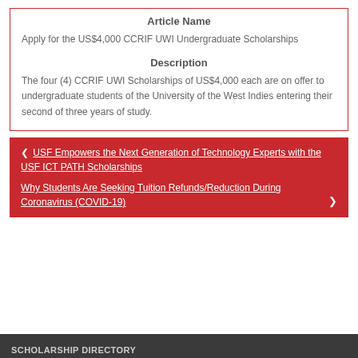| Article Name |
| --- |
| Apply for the US$4,000 CCRIF UWI Undergraduate Scholarships |
Description
The four (4) CCRIF UWI Scholarships of US$4,000 each are on offer to undergraduate students of the University of the West Indies entering their second of three years of study.
❮ USF Empowers the Next Generation of Technology Experts with the USF ICT PATH Scholarships
Why Students Are Seeking Tuition Refunds/Reduction During Coronavirus (COVID-19) ❯
SCHOLARSHIP DIRECTORY